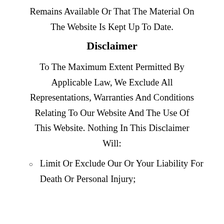Remains Available Or That The Material On The Website Is Kept Up To Date.
Disclaimer
To The Maximum Extent Permitted By Applicable Law, We Exclude All Representations, Warranties And Conditions Relating To Our Website And The Use Of This Website. Nothing In This Disclaimer Will:
Limit Or Exclude Our Or Your Liability For Death Or Personal Injury;